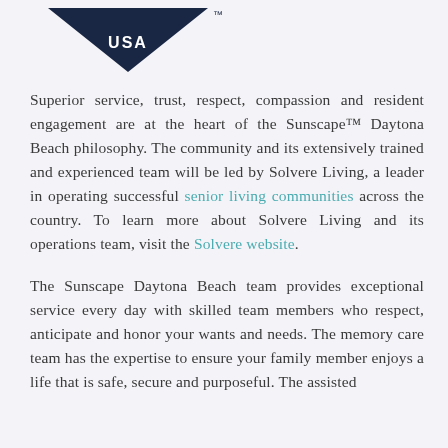[Figure (logo): Partial logo showing diamond/chevron shape with 'USA' text and TM mark in dark navy blue]
Superior service, trust, respect, compassion and resident engagement are at the heart of the Sunscape™ Daytona Beach philosophy. The community and its extensively trained and experienced team will be led by Solvere Living, a leader in operating successful senior living communities across the country. To learn more about Solvere Living and its operations team, visit the Solvere website.
The Sunscape Daytona Beach team provides exceptional service every day with skilled team members who respect, anticipate and honor your wants and needs. The memory care team has the expertise to ensure your family member enjoys a life that is safe, secure and purposeful. The assisted